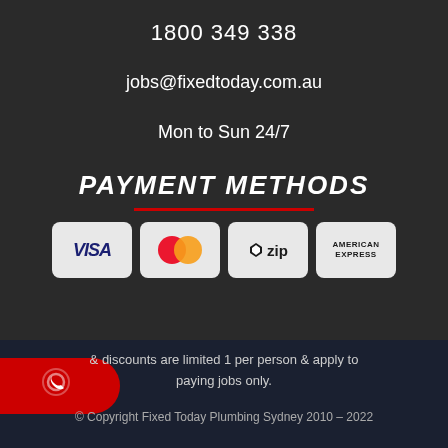1800 349 338
jobs@fixedtoday.com.au
Mon to Sun 24/7
PAYMENT METHODS
[Figure (logo): Payment method logos: VISA, MasterCard, zip, American Express]
& discounts are limited 1 per person & apply to paying jobs only.
© Copyright Fixed Today Plumbing Sydney 2010 – 2022